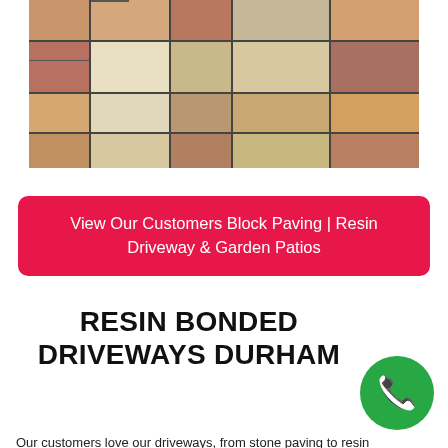[Figure (photo): Photograph of a patio or driveway with multicolored stone paving slabs in shades of beige, tan, red-brown, and grey, with dark grout lines between them.]
View Our Customers Block Paving | Resin Driveway & Garden Patios
RESIN BONDED DRIVEWAYS DURHAM
[Figure (illustration): Green circular phone/call button icon with white telephone handset symbol.]
Our customers love our driveways, from stone paving to resin